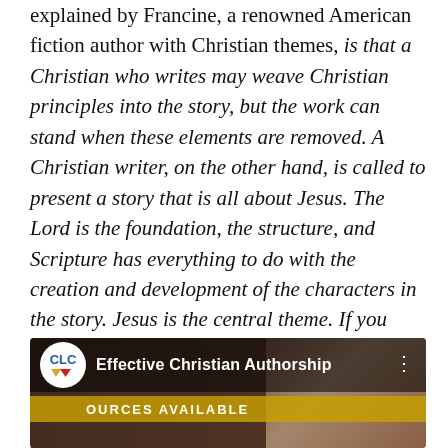explained by Francine, a renowned American fiction author with Christian themes, is that a Christian who writes may weave Christian principles into the story, but the work can stand when these elements are removed. A Christian writer, on the other hand, is called to present a story that is all about Jesus. The Lord is the foundation, the structure, and Scripture has everything to do with the creation and development of the characters in the story. Jesus is the central theme. If you remove Jesus and Biblical principles from the story, it collapses. This explanation of the differences between the two terms has shaped my paradigm shift towards making Jesus the central theme in everything I write.
[Figure (screenshot): Video thumbnail for 'Effective Christian Authorship' with CLC logo and a person in the background]